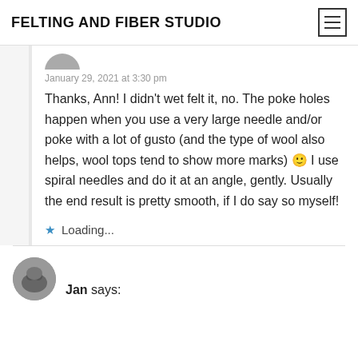FELTING AND FIBER STUDIO
January 29, 2021 at 3:30 pm
Thanks, Ann! I didn't wet felt it, no. The poke holes happen when you use a very large needle and/or poke with a lot of gusto (and the type of wool also helps, wool tops tend to show more marks) 🙂 I use spiral needles and do it at an angle, gently. Usually the end result is pretty smooth, if I do say so myself!
Loading...
Jan says: